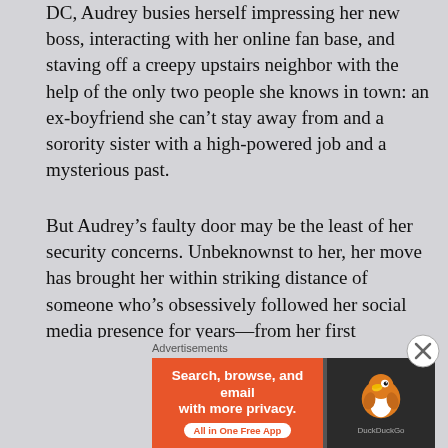DC, Audrey busies herself impressing her new boss, interacting with her online fan base, and staving off a creepy upstairs neighbor with the help of the only two people she knows in town: an ex-boyfriend she can't stay away from and a sorority sister with a high-powered job and a mysterious past.
But Audrey's faulty door may be the least of her security concerns. Unbeknownst to her, her move has brought her within striking distance of someone who's obsessively followed her social media presence for years—from her first WordPress blog to her most recent Instagram Story. No longer content to simply follow her carefully curated life from a distance, he consults the dark web for advice on how to make Audrey his and his alone. In his quest to win her
Advertisements
[Figure (infographic): DuckDuckGo advertisement banner: orange left panel with text 'Search, browse, and email with more privacy. All in One Free App', dark right panel with DuckDuckGo duck logo.]